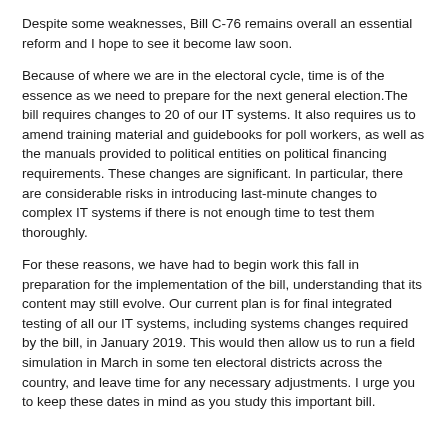Despite some weaknesses, Bill C-76 remains overall an essential reform and I hope to see it become law soon.
Because of where we are in the electoral cycle, time is of the essence as we need to prepare for the next general election.The bill requires changes to 20 of our IT systems. It also requires us to amend training material and guidebooks for poll workers, as well as the manuals provided to political entities on political financing requirements. These changes are significant. In particular, there are considerable risks in introducing last-minute changes to complex IT systems if there is not enough time to test them thoroughly.
For these reasons, we have had to begin work this fall in preparation for the implementation of the bill, understanding that its content may still evolve. Our current plan is for final integrated testing of all our IT systems, including systems changes required by the bill, in January 2019. This would then allow us to run a field simulation in March in some ten electoral districts across the country, and leave time for any necessary adjustments. I urge you to keep these dates in mind as you study this important bill.